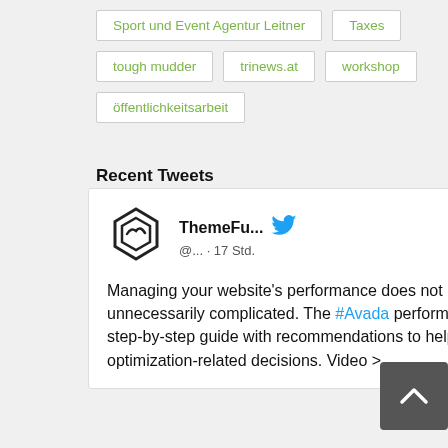Sport und Event Agentur Leitner
Taxes
tough mudder
trinews.at
workshop
öffentlichkeitsarbeit
Recent Tweets
[Figure (other): Tweet card from ThemeFu... (@... · 17 Std.) with Twitter bird logo and ThemeFusion hexagon logo. Tweet text: Managing your website's performance does not need to be unnecessarily complicated. The #Avada performance wizard is a step-by-step guide with recommendations to help you make better optimization-related decisions. Video >]